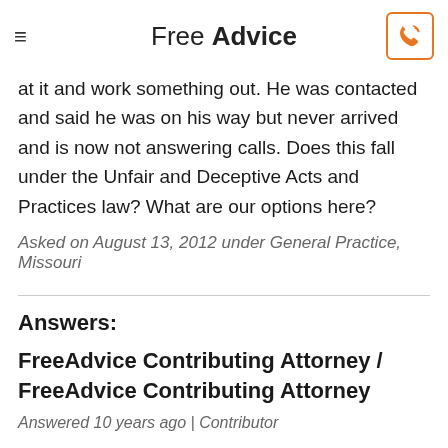Free Advice
at it and work something out. He was contacted and said he was on his way but never arrived and is now not answering calls. Does this fall under the Unfair and Deceptive Acts and Practices law? What are our options here?
Asked on August 13, 2012 under General Practice, Missouri
Answers:
FreeAdvice Contributing Attorney / FreeAdvice Contributing Attorney
Answered 10 years ago | Contributor